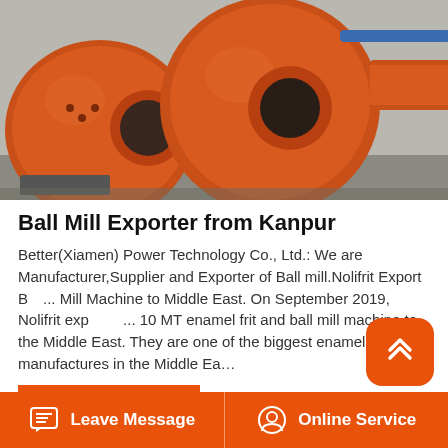[Figure (photo): Large orange industrial ball mill machines photographed outdoors, showing cylindrical grinding equipment with circular opening visible on the front unit.]
Ball Mill Exporter from Kanpur
Better(Xiamen) Power Technology Co., Ltd.: We are Manufacturer,Supplier and Exporter of Ball mill.Nolifrit Export Ball Mill Machine to Middle East. On September 2019, Nolifrit exported 10 MT enamel frit and ball mill machine to the Middle East. They are one of the biggest enamel signage manufactures in the Middle Ea...
READ MORE
[Figure (photo): Partial view of industrial machinery photos shown in a strip at the bottom of the article section.]
Leave Message   Online Service